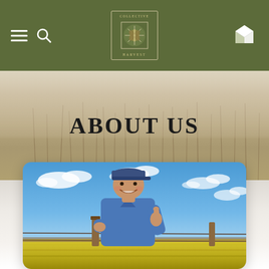Collective Harvest — navigation bar with hamburger menu, search, logo, and bag icon
ABOUT US
[Figure (photo): A smiling man in a denim shirt and baseball cap giving a thumbs up while leaning on a wooden fence post with barbed wire, standing in front of a yellow canola field under a blue sky with clouds.]